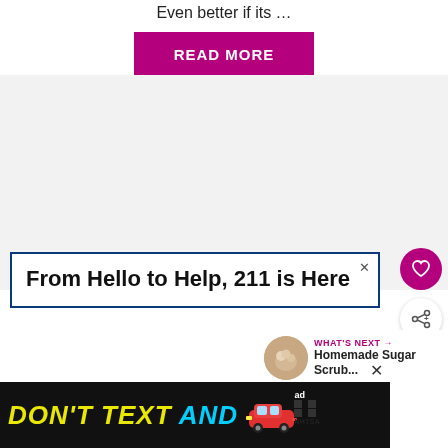Even better if its …
READ MORE
[Figure (screenshot): Gray background content block area]
From Hello to Help, 211 is Here
[Figure (other): Heart (favorite) button - pink circle with heart icon]
[Figure (other): Share button - white circle with share icon]
WHAT'S NEXT → Homemade Sugar Scrub...
[Figure (screenshot): Bottom advertisement banner: DON'T TEXT AND [car image] with ad and NHTSA badge. Close button visible.]